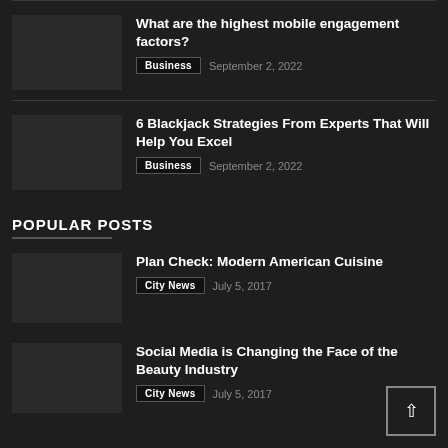What are the highest mobile engagement factors? | Business | September 2, 2022
6 Blackjack Strategies From Experts That Will Help You Excel | Business | September 2, 2022
POPULAR POSTS
Plan Check: Modern American Cuisine | City News | July 5, 2017
Social Media is Changing the Face of the Beauty Industry | City News | July 5, 2017